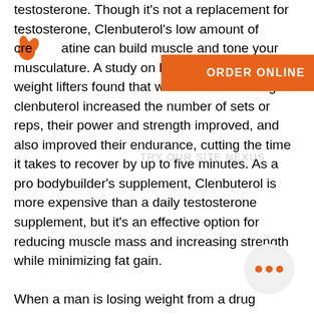[Figure (logo): Orange paw print / leaves icon in top left]
testosterone. Though it's not a replacement for testosterone, Clenbuterol's low amount of creatine can build muscle and tone your musculature. A study on high performance weight lifters found that when athletes taking clenbuterol increased the number of sets or reps, their power and strength improved, and also improved their endurance, cutting the time it takes to recover by up to five minutes. As a pro bodybuilder's supplement, Clenbuterol is more expensive than a daily testosterone supplement, but it's an effective option for reducing muscle mass and increasing strength while minimizing fat gain.

When a man is losing weight from a drug regimen, he's more likely to gain muscle and lose fat. Even if Clenbackrol is the best weight loss supplement, that isn't always true. Men who take Clencheckerol tend to lose the size of their muscles quicker and at